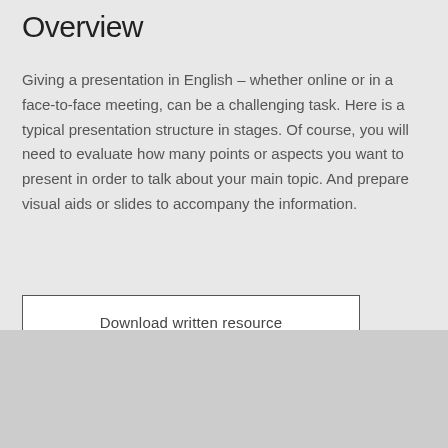Overview
Giving a presentation in English – whether online or in a face-to-face meeting, can be a challenging task. Here is a typical presentation structure in stages. Of course, you will need to evaluate how many points or aspects you want to present in order to talk about your main topic. And prepare visual aids or slides to accompany the information.
Download written resource
[Figure (other): Light grey placeholder rectangle representing a video or image area at the bottom of the page]